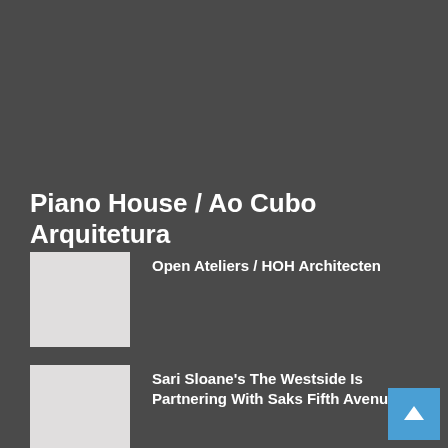Piano House / Ao Cubo Arquitetura
Open Ateliers / HOH Architecten
Sari Sloane's The Westside Is Partnering With Saks Fifth Avenue
DL1961 Introduces Reform Capsule Collectio